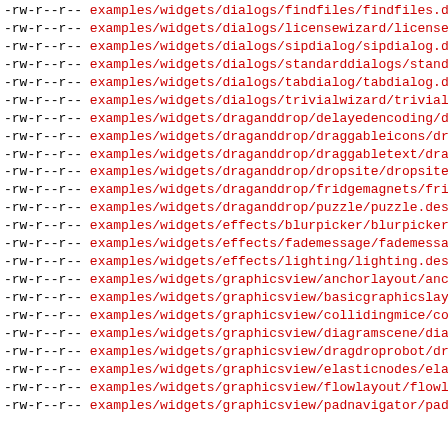-rw-r--r-- examples/widgets/dialogs/findfiles/findfiles.desktop
-rw-r--r-- examples/widgets/dialogs/licensewizard/licensewizard.desktop
-rw-r--r-- examples/widgets/dialogs/sipdialog/sipdialog.desktop
-rw-r--r-- examples/widgets/dialogs/standarddialogs/standarddialogs.desktop
-rw-r--r-- examples/widgets/dialogs/tabdialog/tabdialog.desktop
-rw-r--r-- examples/widgets/dialogs/trivialwizard/trivialwizard.desktop
-rw-r--r-- examples/widgets/draganddrop/delayedencoding/delayedencoding.desktop
-rw-r--r-- examples/widgets/draganddrop/draggableicons/draggableicons.desktop
-rw-r--r-- examples/widgets/draganddrop/draggabletext/draggabletext.desktop
-rw-r--r-- examples/widgets/draganddrop/dropsite/dropsite.desktop
-rw-r--r-- examples/widgets/draganddrop/fridgemagnets/fridgemagnets.desktop
-rw-r--r-- examples/widgets/draganddrop/puzzle/puzzle.desktop
-rw-r--r-- examples/widgets/effects/blurpicker/blurpicker.desktop
-rw-r--r-- examples/widgets/effects/fademessage/fademessage.desktop
-rw-r--r-- examples/widgets/effects/lighting/lighting.desktop
-rw-r--r-- examples/widgets/graphicsview/anchorlayout/anchorlayout.desktop
-rw-r--r-- examples/widgets/graphicsview/basicgraphicslayouts/basicgraphicslayouts.desktop
-rw-r--r-- examples/widgets/graphicsview/collidingmice/collidingmice.desktop
-rw-r--r-- examples/widgets/graphicsview/diagramscene/diagramscene.desktop
-rw-r--r-- examples/widgets/graphicsview/dragdroprobot/dragdroprobot.desktop
-rw-r--r-- examples/widgets/graphicsview/elasticnodes/elasticnodes.desktop
-rw-r--r-- examples/widgets/graphicsview/flowlayout/flowlayout.desktop
-rw-r--r-- examples/widgets/graphicsview/padnavigator/padnavigator.desktop